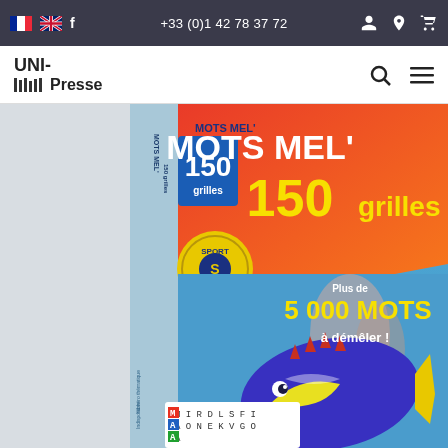+33 (0)1 42 78 37 72
[Figure (logo): UNI-Presse logo with vertical bars]
[Figure (illustration): Magazine cover of MOTS MEL' 150 grilles featuring a colorful reef fish, text: MOTS MEL' 150 grilles, Plus de 5 000 MOTS à démêler!, Sport Cérébral badge, word search grid at bottom]